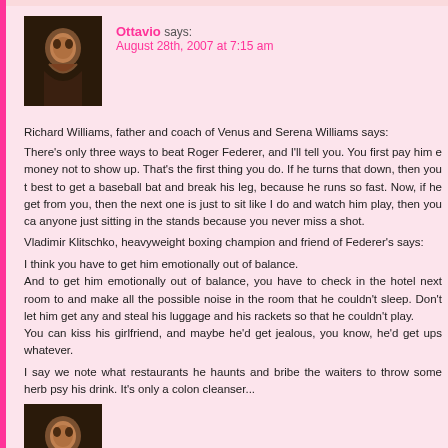[Figure (photo): Avatar image of a person, dark toned illustration]
Ottavio says:
August 28th, 2007 at 7:15 am
Richard Williams, father and coach of Venus and Serena Williams says:
There's only three ways to beat Roger Federer, and I'll tell you. You first pay him money not to show up. That's the first thing you do. If he turns that down, then you best to get a baseball bat and break his leg, because he runs so fast. Now, if he get from you, then the next one is just to sit like I do and watch him play, then you can anyone just sitting in the stands because you never miss a shot.
Vladimir Klitschko, heavyweight boxing champion and friend of Federer's says:
I think you have to get him emotionally out of balance.
And to get him emotionally out of balance, you have to check in the hotel next room to and make all the possible noise in the room that he couldn't sleep. Don't let him get any and steal his luggage and his rackets so that he couldn't play.
You can kiss his girlfriend, and maybe he'd get jealous, you know, he'd get ups whatever.
I say we note what restaurants he haunts and bribe the waiters to throw some herb psy his drink. It's only a colon cleanser...
[Figure (photo): Avatar image of a person, dark toned illustration]